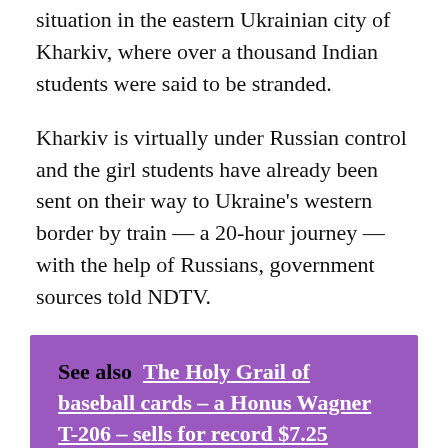situation in the eastern Ukrainian city of Kharkiv, where over a thousand Indian students were said to be stranded.
Kharkiv is virtually under Russian control and the girl students have already been sent on their way to Ukraine's western border by train — a 20-hour journey — with the help of Russians, government sources told NDTV.
See also  The Holy Grail of baseball cards – a Honus Wagner T-206 – sells for record $7.25 million